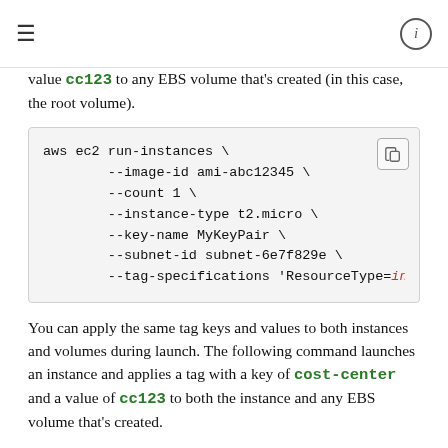≡   ⓘ
value cc123 to any EBS volume that's created (in this case, the root volume).
aws ec2 run-instances \
        --image-id ami-abc12345 \
        --count 1 \
        --instance-type t2.micro \
        --key-name MyKeyPair \
        --subnet-id subnet-6e7f829e \
        --tag-specifications 'ResourceType=ins
You can apply the same tag keys and values to both instances and volumes during launch. The following command launches an instance and applies a tag with a key of cost-center and a value of cc123 to both the instance and any EBS volume that's created.